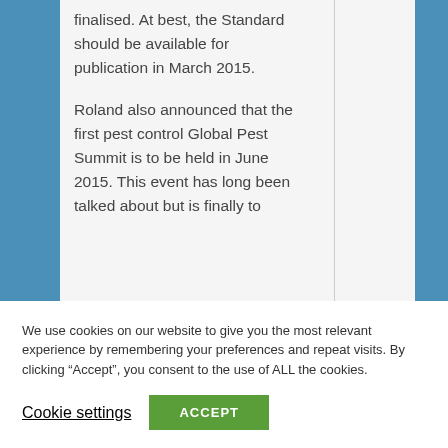finalised. At best, the Standard should be available for publication in March 2015.

Roland also announced that the first pest control Global Pest Summit is to be held in June 2015. This event has long been talked about but is finally to
We use cookies on our website to give you the most relevant experience by remembering your preferences and repeat visits. By clicking “Accept”, you consent to the use of ALL the cookies.
Cookie settings
ACCEPT